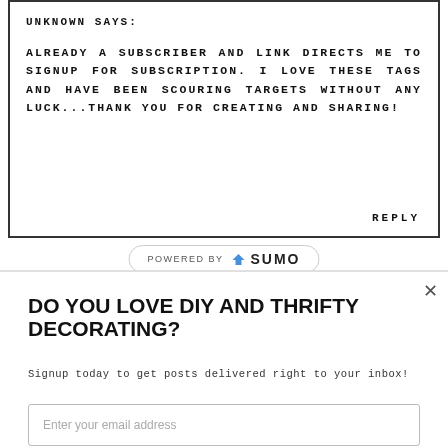UNKNOWN SAYS:
ALREADY A SUBSCRIBER AND LINK DIRECTS ME TO SIGNUP FOR SUBSCRIPTION. I LOVE THESE TAGS AND HAVE BEEN SCOURING TARGETS WITHOUT ANY LUCK...THANK YOU FOR CREATING AND SHARING!
REPLY
POWERED BY SUMO
DO YOU LOVE DIY AND THRIFTY DECORATING?
Signup today to get posts delivered right to your inbox!
Enter your email address
Subscribe Now